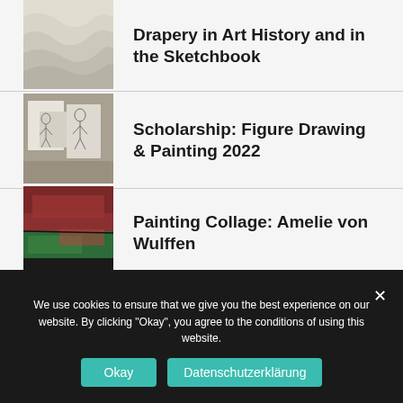[Figure (photo): Draped white/beige fabric close-up]
Drapery in Art History and in the Sketchbook
[Figure (photo): Sketches of human figure drawings on paper]
Scholarship: Figure Drawing & Painting 2022
[Figure (photo): Abstract painting collage with red, green and black colors]
Painting Collage: Amelie von Wulffen
We use cookies to ensure that we give you the best experience on our website. By clicking "Okay", you agree to the conditions of using this website.